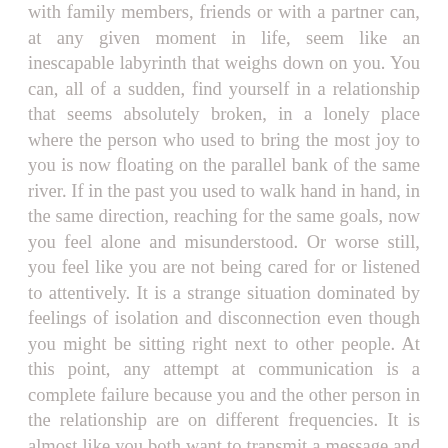with family members, friends or with a partner can, at any given moment in life, seem like an inescapable labyrinth that weighs down on you. You can, all of a sudden, find yourself in a relationship that seems absolutely broken, in a lonely place where the person who used to bring the most joy to you is now floating on the parallel bank of the same river. If in the past you used to walk hand in hand, in the same direction, reaching for the same goals, now you feel alone and misunderstood. Or worse still, you feel like you are not being cared for or listened to attentively. It is a strange situation dominated by feelings of isolation and disconnection even though you might be sitting right next to other people. At this point, any attempt at communication is a complete failure because you and the other person in the relationship are on different frequencies. It is almost like you both want to transmit a message and receive a message and you do your best to put together a concise message that can